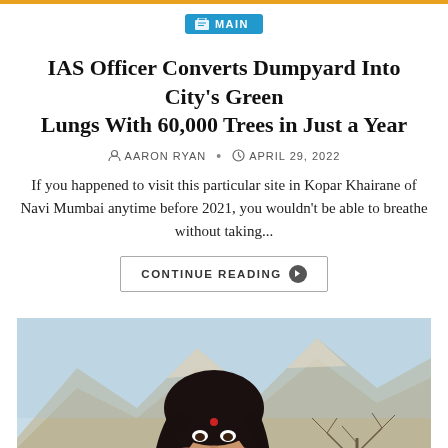MAIN
IAS Officer Converts Dumpyard Into City's Green Lungs With 60,000 Trees in Just a Year
AARON RYAN • APRIL 29, 2022
If you happened to visit this particular site in Kopar Khairane of Navi Mumbai anytime before 2021, you wouldn't be able to breathe without taking...
CONTINUE READING
[Figure (photo): Portrait of a smiling young Indian woman with long dark hair and a red bindi, wearing a pink outfit, standing in front of a mountain landscape with trees in the background.]